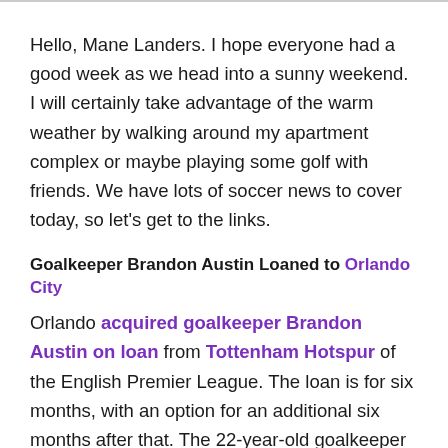Hello, Mane Landers. I hope everyone had a good week as we head into a sunny weekend. I will certainly take advantage of the warm weather by walking around my apartment complex or maybe playing some golf with friends. We have lots of soccer news to cover today, so let's get to the links.
Goalkeeper Brandon Austin Loaned to Orlando City
Orlando acquired goalkeeper Brandon Austin on loan from Tottenham Hotspur of the English Premier League. The loan is for six months, with an option for an additional six months after that. The 22-year-old goalkeeper is part of the England Youth National Team pool, but has dual citizenship and won't take up an international spot.